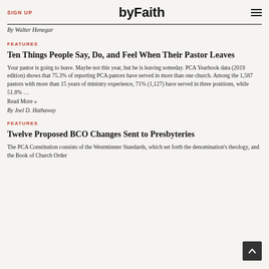SIGN UP | byFaith
By Walter Henegar
FEATURES
Ten Things People Say, Do, and Feel When Their Pastor Leaves
Your pastor is going to leave. Maybe not this year, but he is leaving someday. PCA Yearbook data (2019 edition) shows that 75.3% of reporting PCA pastors have served in more than one church. Among the 1,587 pastors with more than 15 years of ministry experience, 71% (1,127) have served in three positions, while 51.8% …
Read More »
By Joel D. Hathaway
FEATURES
Twelve Proposed BCO Changes Sent to Presbyteries
The PCA Constitution consists of the Westminster Standards, which set forth the denomination's theology, and the Book of Church Order